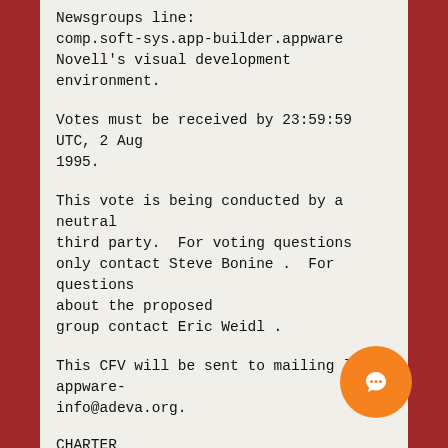Newsgroups line:
comp.soft-sys.app-builder.appware
Novell's visual development environment.
Votes must be received by 23:59:59 UTC, 2 Aug 1995.
This vote is being conducted by a neutral third party.  For voting questions only contact Steve Bonine .  For questions about the proposed group contact Eric Weidl .
This CFV will be sent to mailing list appware-info@adeva.org.
CHARTER
The comp.soft-sys.app-builder.appware newsgroup will serve the AppWare